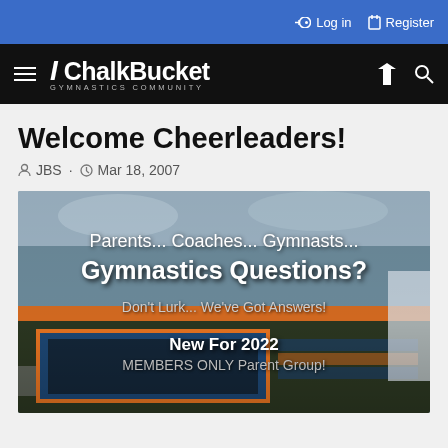Log in  Register
[Figure (logo): ChalkBucket Gymnastics Community logo with hamburger menu, lightning bolt and search icons on black navigation bar]
Welcome Cheerleaders!
JBS · Mar 18, 2007
[Figure (photo): Gymnastics gym interior with foam pit, blue and orange mats, overlaid with text: Parents... Coaches... Gymnasts... Gymnastics Questions? Don't Lurk... We've Got Answers! New For 2022 MEMBERS ONLY Parent Group!]